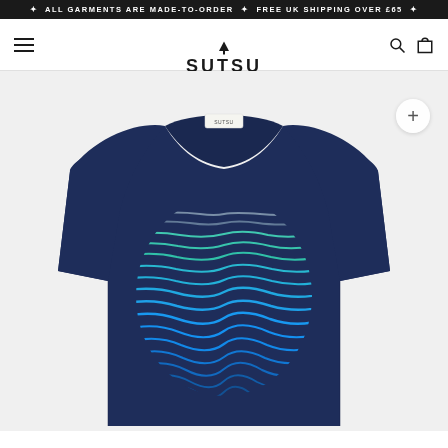✦ ALL GARMENTS ARE MADE-TO-ORDER ✦ FREE UK SHIPPING OVER £65 ✦
SUTSU — navigation header with hamburger menu, logo, search and cart icons
[Figure (photo): Navy blue t-shirt with a circular graphic on the chest featuring horizontal wavy lines in teal-to-blue gradient colors, displayed on a white/light grey background. The shirt has a visible Sutsu label at the collar.]